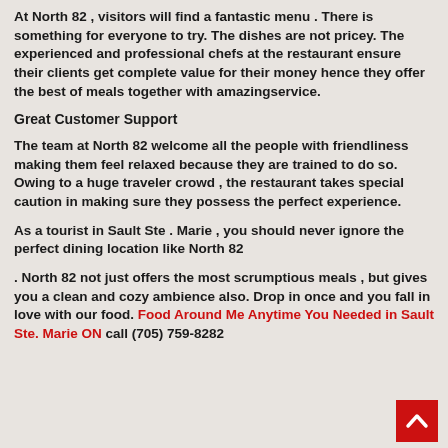At North 82 , visitors will find a fantastic menu . There is something for everyone to try. The dishes are not pricey. The experienced and professional chefs at the restaurant ensure their clients get complete value for their money hence they offer the best of meals together with amazingservice.
Great Customer Support
The team at North 82 welcome all the people with friendliness making them feel relaxed because they are trained to do so. Owing to a huge traveler crowd , the restaurant takes special caution in making sure they possess the perfect experience.
As a tourist in Sault Ste . Marie , you should never ignore the perfect dining location like North 82
. North 82 not just offers the most scrumptious meals , but gives you a clean and cozy ambience also. Drop in once and you fall in love with our food. Food Around Me Anytime You Needed in Sault Ste. Marie ON call (705) 759-8282